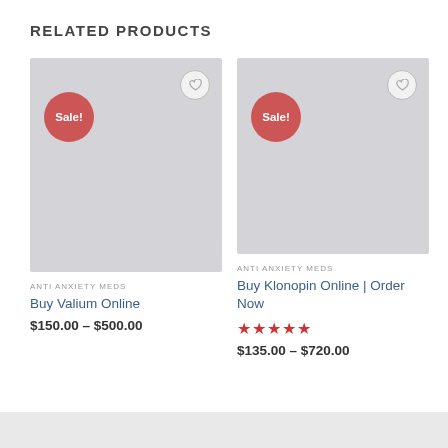RELATED PRODUCTS
[Figure (photo): Product image placeholder (light gray rectangle) for Buy Valium Online with Sale badge and wishlist heart icon]
ANTI ANXIETY MEDS
Buy Valium Online
$150.00 – $500.00
[Figure (photo): Product image placeholder (light gray rectangle) for Buy Klonopin Online with Sale badge and wishlist heart icon]
ANTI ANXIETY MEDS
Buy Klonopin Online | Order Now
$135.00 – $720.00